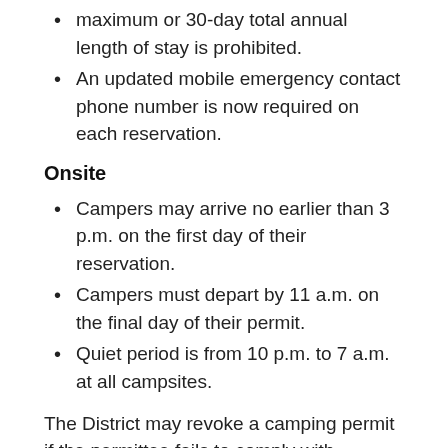maximum or 30-day total annual length of stay is prohibited.
An updated mobile emergency contact phone number is now required on each reservation.
Onsite
Campers may arrive no earlier than 3 p.m. on the first day of their reservation.
Campers must depart by 11 a.m. on the final day of their permit.
Quiet period is from 10 p.m. to 7 a.m. at all campsites.
The District may revoke a camping permit if the permittee fails to comply with camping rules. You can view a complete list of camping rules on District properties here